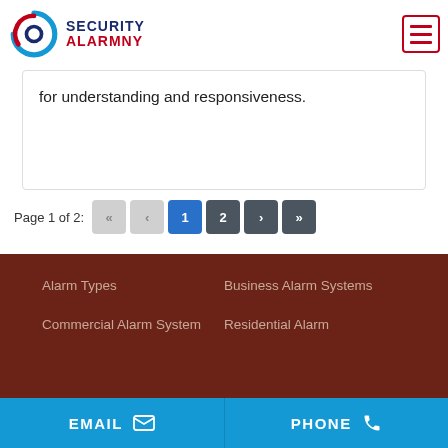Security AlarmNY
for understanding and responsiveness.
Page 1 of 2: « ‹ 1 2 › »
Alarm Types
Business Alarm Systems
Commercial Alarm System
Residential Alarm
EMAIL  PHONE